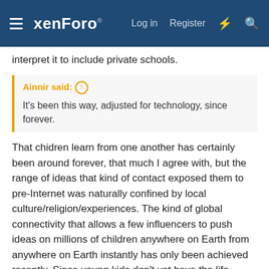xenForo — Log in  Register
interpret it to include private schools.
Ainnir said: ↑ It's been this way, adjusted for technology, since forever.
That chidren learn from one another has certainly been around forever, that much I agree with, but the range of ideas that kind of contact exposed them to pre-Internet was naturally confined by local culture/religion/experiences. The kind of global connectivity that allows a few influencers to push ideas on millions of children anywhere on Earth from anywhere on Earth instantly has only been achieved recently. Since young kids don't yet have the life experience to reject the media they're consuming, it turns into a form of mass mind control.
In my opinion it's never been more important for Christian parents to not let their pre-teen kids be exposed to technology unsupervised and to teach them discernment before giving them a portable Internet-capable device for just this reason.